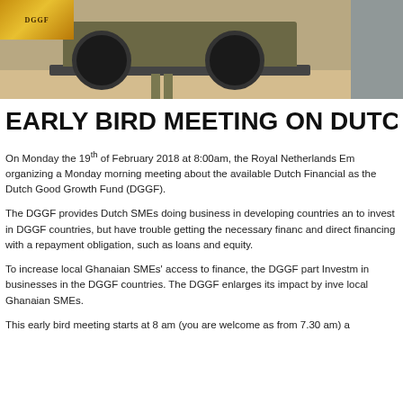[Figure (photo): Photo strip showing a military/utility vehicle in a sandy desert environment with a soldier figure, and a grey panel on the right. Gold/yellow emblem in the top-left corner.]
EARLY BIRD MEETING ON DUTCH
On Monday the 19th of February 2018 at 8:00am, the Royal Netherlands Em organizing a Monday morning meeting about the available Dutch Financial as the Dutch Good Growth Fund (DGGF).
The DGGF provides Dutch SMEs doing business in developing countries an to invest in DGGF countries, but have trouble getting the necessary financ and direct financing with a repayment obligation, such as loans and equity
To increase local Ghanaian SMEs' access to finance, the DGGF part Invest in businesses in the DGGF countries. The DGGF enlarges its impact by inve local Ghanaian SMEs.
This early bird meeting starts at 8 am (you are welcome as from 7.30 am) a